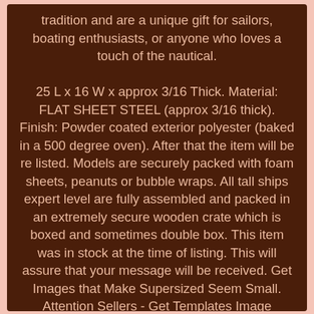tradition and are a unique gift for sailors, boating enthusiasts, or anyone who loves a touch of the nautical.

25 L x 16 W x approx 3/16 Thick. Material: FLAT SHEET STEEL (approx 3/16 thick). Finish: Powder coated exterior polyester (baked in a 500 degree oven). After that the item will be re listed. Models are securely packed with foam sheets, peanuts or bubble wraps. All tall ships expert level are fully assembled and packed in an extremely secure wooden crate which is boxed and sometimes double box. This item was in stock at the time of listing. This will assure that your message will be received. Get Images that Make Supersized Seem Small. Attention Sellers - Get Templates Image Hosting, Scheduling at Auctiva. The item "Black Metal Fisherman Ship's Anchor 2' Nautical Table Top Garden Yard Decor USA" is in sale since Friday, January 13, 2017